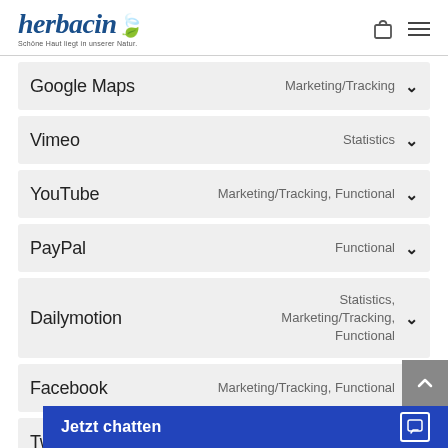herbacin — Schöne Haut liegt in unserer Natur.
Google Maps — Marketing/Tracking
Vimeo — Statistics
YouTube — Marketing/Tracking, Functional
PayPal — Functional
Dailymotion — Statistics, Marketing/Tracking, Functional
Facebook — Marketing/Tracking, Functional
Twitter — Func...
Jetzt chatten